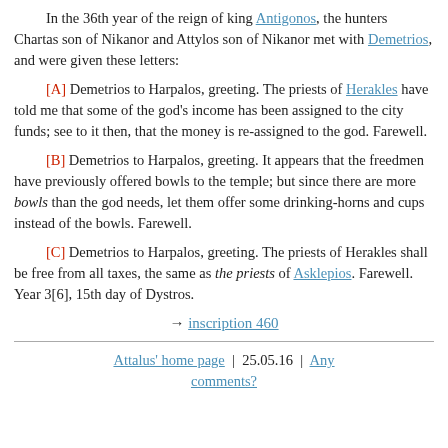In the 36th year of the reign of king Antigonos, the hunters Chartas son of Nikanor and Attylos son of Nikanor met with Demetrios, and were given these letters:
[A] Demetrios to Harpalos, greeting. The priests of Herakles have told me that some of the god's income has been assigned to the city funds; see to it then, that the money is re-assigned to the god. Farewell.
[B] Demetrios to Harpalos, greeting. It appears that the freedmen have previously offered bowls to the temple; but since there are more bowls than the god needs, let them offer some drinking-horns and cups instead of the bowls. Farewell.
[C] Demetrios to Harpalos, greeting. The priests of Herakles shall be free from all taxes, the same as the priests of Asklepios. Farewell. Year 3[6], 15th day of Dystros.
→ inscription 460
Attalus' home page  |  25.05.16  |  Any comments?